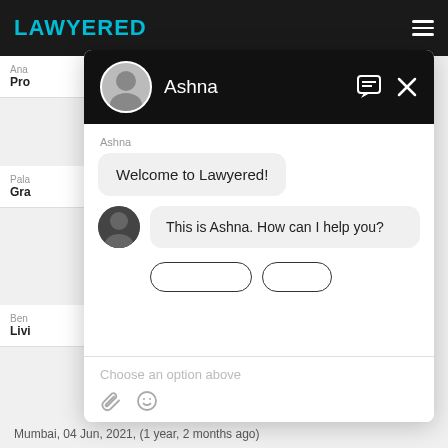[Figure (screenshot): Lawyered website top navigation bar with dark background and teal logo text]
Ana
Pro
Pala
Gra
Ben
Livi
[Figure (screenshot): Chat widget showing Ashna chatbot with messages: 'Welcome to Lawyered!' and 'This is Ashna. How can I help you?' with input area showing 'Choose an option above']
Mumbai,  04 Jun, 2021,  (1 year, 2 months ago)